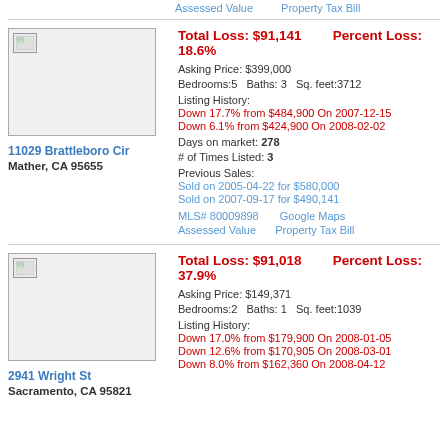Assessed Value   Property Tax Bill
Total Loss: $91,141   Percent Loss: 18.6%
[Figure (photo): Property photo placeholder for 11029 Brattleboro Cir]
Asking Price: $399,000
Bedrooms:5   Baths: 3   Sq. feet:3712
Listing History:
Down 17.7% from $484,900 On 2007-12-15
Down 6.1% from $424,900 On 2008-02-02
Days on market: 278
# of Times Listed: 3
Previous Sales:
Sold on 2005-04-22 for $580,000
Sold on 2007-09-17 for $490,141
MLS# 80009898   Google Maps
Assessed Value   Property Tax Bill
11029 Brattleboro Cir
Mather, CA 95655
Total Loss: $91,018   Percent Loss: 37.9%
[Figure (photo): Property photo placeholder for 2941 Wright St]
Asking Price: $149,371
Bedrooms:2   Baths: 1   Sq. feet:1039
Listing History:
Down 17.0% from $179,900 On 2008-01-05
Down 12.6% from $170,905 On 2008-03-01
Down 8.0% from $162,360 On 2008-04-12
2941 Wright St
Sacramento, CA 95821